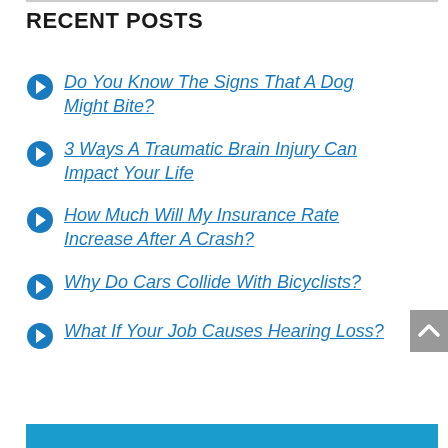RECENT POSTS
Do You Know The Signs That A Dog Might Bite?
3 Ways A Traumatic Brain Injury Can Impact Your Life
How Much Will My Insurance Rate Increase After A Crash?
Why Do Cars Collide With Bicyclists?
What If Your Job Causes Hearing Loss?